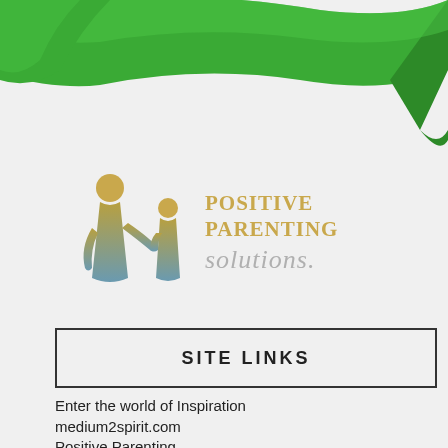[Figure (illustration): Green ribbon/banner decorative element at the top of the page]
[Figure (logo): Positive Parenting Solutions logo with two stylized figures (adult and child) in gold/teal gradient and text reading POSITIVE PARENTING solutions.]
SITE LINKS
Enter the world of Inspiration
medium2spirit.com
Positive Parenting
Spirituality Bookshop